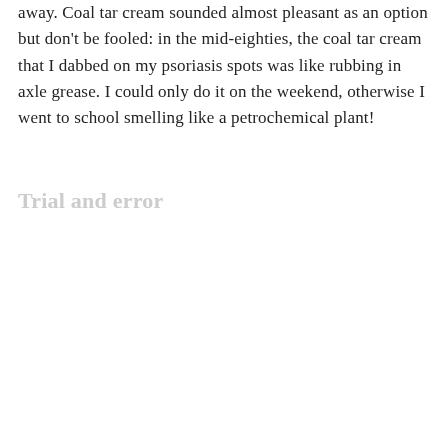away. Coal tar cream sounded almost pleasant as an option but don't be fooled: in the mid-eighties, the coal tar cream that I dabbed on my psoriasis spots was like rubbing in axle grease. I could only do it on the weekend, otherwise I went to school smelling like a petrochemical plant!
Trial and error